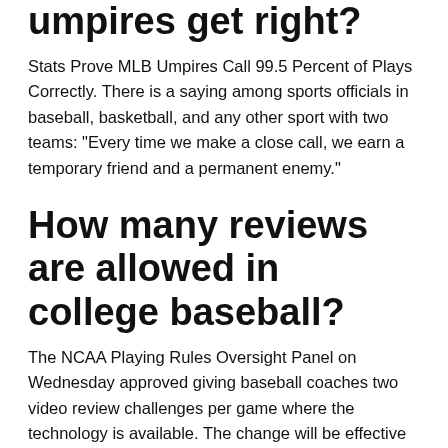umpires get right?
Stats Prove MLB Umpires Call 99.5 Percent of Plays Correctly. There is a saying among sports officials in baseball, basketball, and any other sport with two teams: “Every time we make a close call, we earn a temporary friend and a permanent enemy.”
How many reviews are allowed in college baseball?
The NCAA Playing Rules Oversight Panel on Wednesday approved giving baseball coaches two video review challenges per game where the technology is available. The change will be effective for the 2019 season.